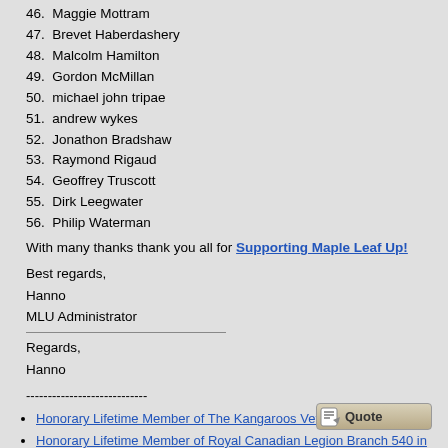46. Maggie Mottram
47. Brevet Haberdashery
48. Malcolm Hamilton
49. Gordon McMillan
50. michael john tripae
51. andrew wykes
52. Jonathon Bradshaw
53. Raymond Rigaud
54. Geoffrey Truscott
55. Dirk Leegwater
56. Philip Waterman
With many thanks thank you all for Supporting Maple Leaf Up!
Best regards,
Hanno
MLU Administrator
Regards,
Hanno
----------------------------
Honorary Lifetime Member of The Kangaroos Veterans Association
Honorary Lifetime Member of Royal Canadian Legion Branch 540 in Lucan
Main web site index: Sherman, Canadian Military Pattern, Marmon-Herrington, etc.